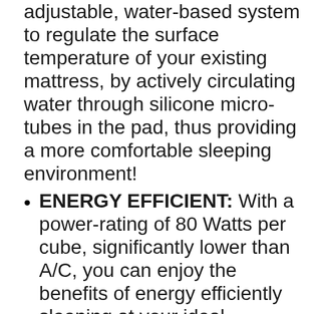adjustable, water-based system to regulate the surface temperature of your existing mattress, by actively circulating water through silicone micro-tubes in the pad, thus providing a more comfortable sleeping environment!
ENERGY EFFICIENT: With a power-rating of 80 Watts per cube, significantly lower than A/C, you can enjoy the benefits of energy efficiently sleeping at your ideal temperature!
AID HEALTH EFFORTS: Designed with recovery benefits from cold therapy in mind, customer testimonials describe how its cooling capabilities assist in